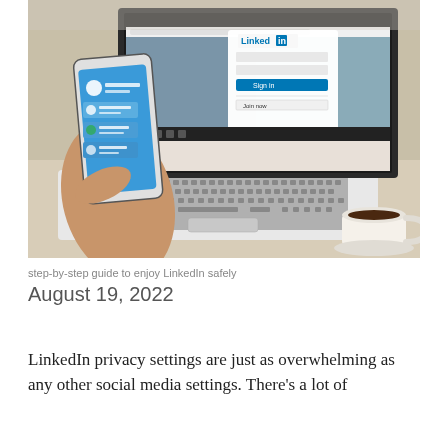[Figure (photo): Person holding a smartphone showing LinkedIn app, with an open laptop in the background displaying the LinkedIn login page, and a cup of coffee to the right, on a white desk.]
step-by-step guide to enjoy LinkedIn safely
August 19, 2022
LinkedIn privacy settings are just as overwhelming as any other social media settings. There's a lot of